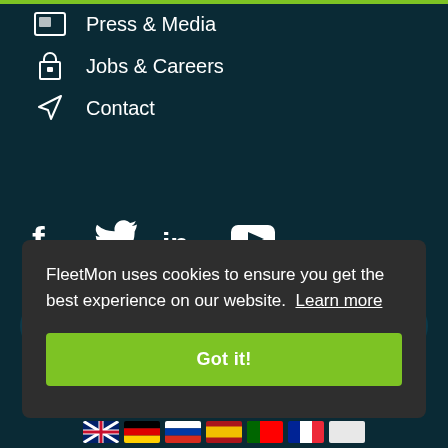Press & Media
Jobs & Careers
Contact
[Figure (infographic): Social media icons: Facebook, Twitter, LinkedIn, YouTube]
Search Vessels & Ports
FleetMon uses cookies to ensure you get the best experience on our website. Learn more
Got it!
[Figure (infographic): Row of country flag icons at bottom of page]